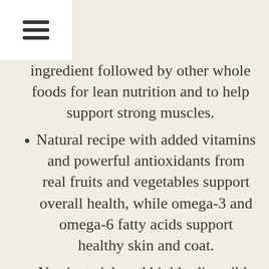≡
ingredient followed by other whole foods for lean nutrition and to help support strong muscles.
Natural recipe with added vitamins and powerful antioxidants from real fruits and vegetables support overall health, while omega-3 and omega-6 fatty acids support healthy skin and coat.
Nutrient-rich and highly digestible recipe made with proprietary probiotic blend to help support your canine companion's digestive health, while